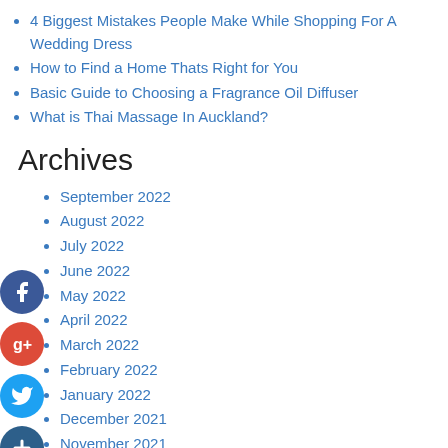4 Biggest Mistakes People Make While Shopping For A Wedding Dress
How to Find a Home Thats Right for You
Basic Guide to Choosing a Fragrance Oil Diffuser
What is Thai Massage In Auckland?
Archives
September 2022
August 2022
July 2022
June 2022
May 2022
April 2022
March 2022
February 2022
January 2022
December 2021
November 2021